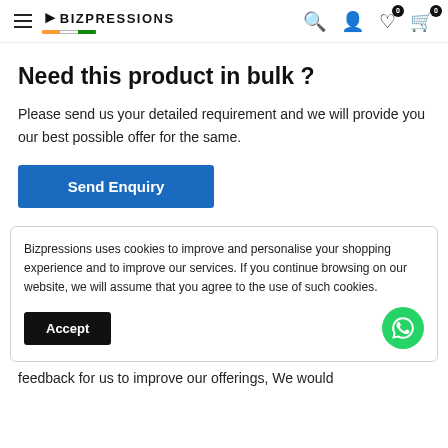BIZPRESSIONS — navigation header with hamburger, logo, search, user, wishlist(0), cart(0)
Need this product in bulk ?
Please send us your detailed requirement and we will provide you our best possible offer for the same.
Send Enquiry
Bizpressions uses cookies to improve and personalise your shopping experience and to improve our services. If you continue browsing on our website, we will assume that you agree to the use of such cookies.
Accept
feedback for us to improve our offerings, We would